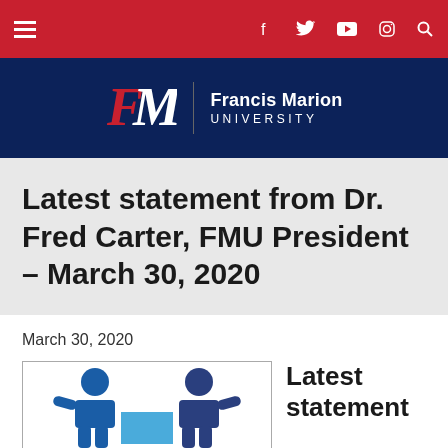Francis Marion University navigation bar with menu, Facebook, Twitter, YouTube, Instagram, and search icons
[Figure (logo): Francis Marion University logo with FM letters in red and white on dark blue background]
Latest statement from Dr. Fred Carter, FMU President – March 30, 2020
March 30, 2020
[Figure (illustration): Two blue stylized human figures facing each other with a light blue rectangle between them]
Latest statement